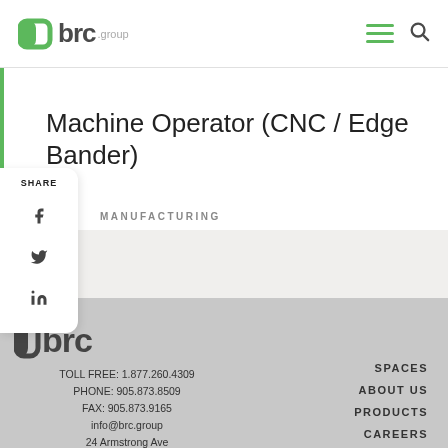abrc
Machine Operator (CNC / Edge Bander)
MANUFACTURING
[Figure (logo): ABRC group logo in footer, dark letters on grey background]
TOLL FREE: 1.877.260.4309
PHONE: 905.873.8509
FAX: 905.873.9165
info@brc.group
24 Armstrong Ave
SPACES
ABOUT US
PRODUCTS
CAREERS
RESOURCES